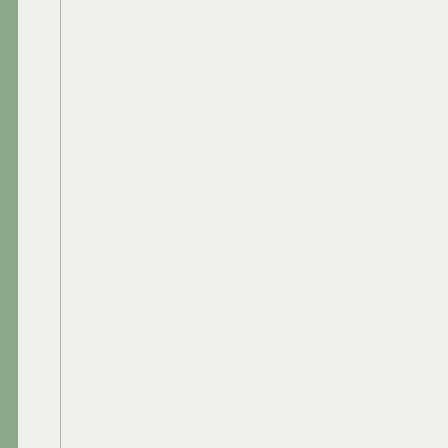coauthored with
Cui, Jianfeng (Peking University)
Chen, Honghai (Xibei University)
Wang, Hui (Gansu Archaeological)
Chen, Jian (Chendu Archaeological)
Panel: NN
Formal analysis indicates that unskilled imitation of exotic de... from the late Neolithic Majiaya... 4050 BP respectively) in North... centers or locally produced? A... frequency of pottery trade dec... examinations, formal analysis
I
IIZUKA, Yoshiyuki (Institute o... Decoding ancient glass: Met... Panel: James Lankton
By studying the chemical comp... background of the glass, includ... techniques. Although a numbe... reported, comparison studies b...